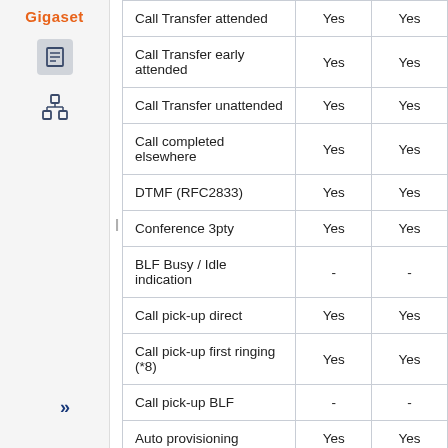| Feature | Col1 | Col2 |
| --- | --- | --- |
| Call Transfer attended | Yes | Yes |
| Call Transfer early attended | Yes | Yes |
| Call Transfer unattended | Yes | Yes |
| Call completed elsewhere | Yes | Yes |
| DTMF (RFC2833) | Yes | Yes |
| Conference 3pty | Yes | Yes |
| BLF Busy / Idle indication | - | - |
| Call pick-up direct | Yes | Yes |
| Call pick-up first ringing (*8) | Yes | Yes |
| Call pick-up BLF | - | - |
| Auto provisioning | Yes | Yes |
| TCP | Yes | Yes |